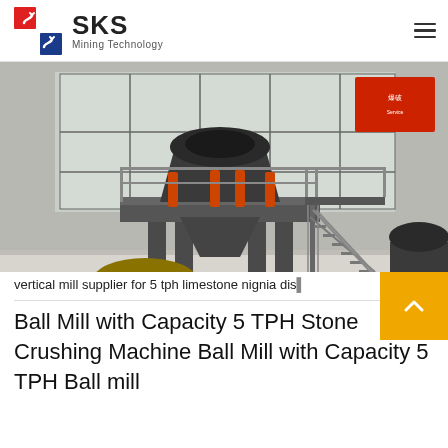SKS Mining Technology
[Figure (photo): Large industrial crushing/milling machine (cone crusher) on elevated platform inside a factory warehouse. Orange hydraulic components visible. Additional machinery visible to the right. Industrial windows in background.]
vertical mill supplier for 5 tph limestone nignia dis...
Ball Mill with Capacity 5 TPH Stone Crushing Machine Ball Mill with Capacity 5 TPH Ball mill